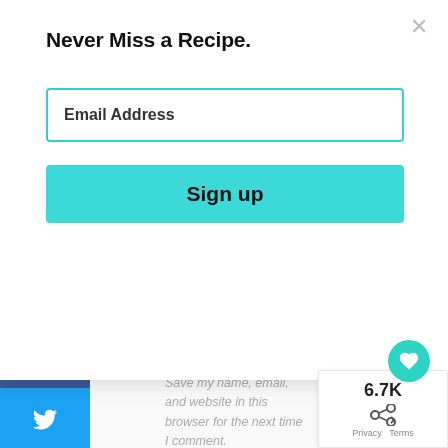Never Miss a Recipe.
Email Address
Sign up
Website
Save my name, email, and website in this browser for the next time I comment.
SHARES
6.7K
Privacy  Terms